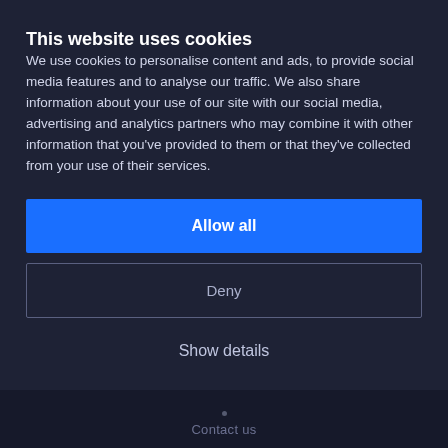This website uses cookies
We use cookies to personalise content and ads, to provide social media features and to analyse our traffic. We also share information about your use of our site with our social media, advertising and analytics partners who may combine it with other information that you've provided to them or that they've collected from your use of their services.
Allow all
Deny
Show details
Contact us